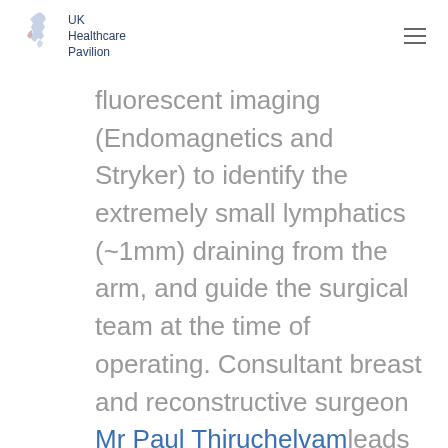UK Healthcare Pavilion
fluorescent imaging (Endomagnetics and Stryker) to identify the extremely small lymphatics (~1mm) draining from the arm, and guide the surgical team at the time of operating. Consultant breast and reconstructive surgeon Mr Paul Thiruchelvam leads the team and works very